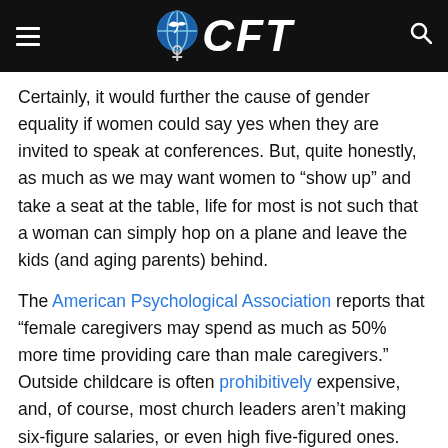CFT
Certainly, it would further the cause of gender equality if women could say yes when they are invited to speak at conferences. But, quite honestly, as much as we may want women to “show up” and take a seat at the table, life for most is not such that a woman can simply hop on a plane and leave the kids (and aging parents) behind.
The American Psychological Association reports that “female caregivers may spend as much as 50% more time providing care than male caregivers.” Outside childcare is often prohibitively expensive, and, of course, most church leaders aren’t making six-figure salaries, or even high five-figured ones. Families are more widespread geograph[ically, eliminating the cost-efficient possibility of family chil]dcare, and the need for dual income families reduces a dad’s ability